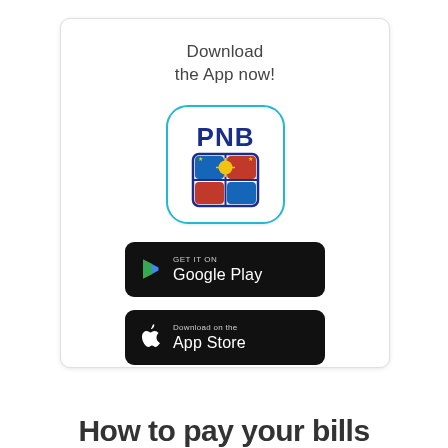Download the App now!
[Figure (logo): PNB (Philippine National Bank) app icon with rounded square shape, teal border, white background, 'PNB' in bold blue text, and a shield/coat of arms logo below]
[Figure (logo): Google Play Store download badge - black rounded rectangle with 'GET IT ON Google Play' text and Play triangle icon]
[Figure (logo): Apple App Store download badge - black rounded rectangle with 'Download on the App Store' text and Apple logo]
How to pay your bills